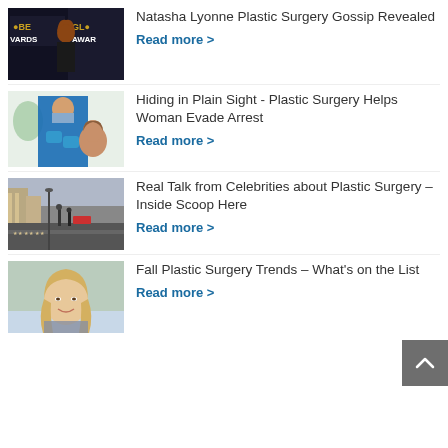[Figure (photo): Woman in black dress at Globe Awards red carpet]
Natasha Lyonne Plastic Surgery Gossip Revealed
Read more >
[Figure (photo): Medical professional in blue gloves examining patient's face]
Hiding in Plain Sight - Plastic Surgery Helps Woman Evade Arrest
Read more >
[Figure (photo): Street scene with Hollywood Walk of Fame stars]
Real Talk from Celebrities about Plastic Surgery – Inside Scoop Here
Read more >
[Figure (photo): Young blonde woman smiling outdoors wearing scarf]
Fall Plastic Surgery Trends – What's on the List
Read more >